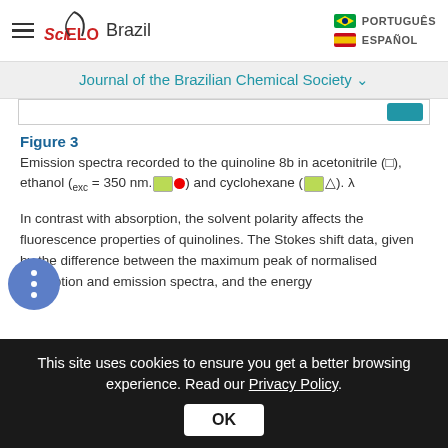SciELO Brazil | Journal of the Brazilian Chemical Society
Figure 3
Emission spectra recorded to the quinoline 8b in acetonitrile (□), ethanol (exc = 350 nm. ●) and cyclohexane (△). λ
In contrast with absorption, the solvent polarity affects the fluorescence properties of quinolines. The Stokes shift data, given by the difference between the maximum peak of normalised absorption and emission spectra, and the energy
This site uses cookies to ensure you get a better browsing experience. Read our Privacy Policy. OK